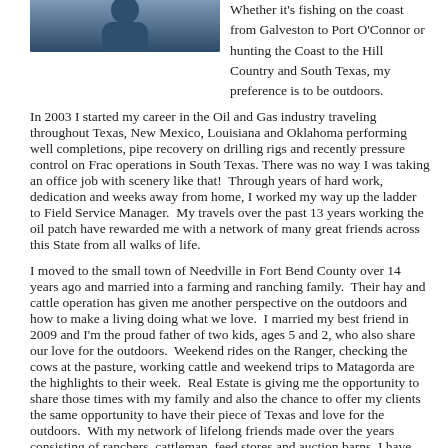[Figure (photo): Partial photo of a man in blue clothing, cropped at top, only lower portion visible]
Whether it's fishing on the coast from Galveston to Port O'Connor or hunting the Coast to the Hill Country and South Texas, my preference is to be outdoors.
In 2003 I started my career in the Oil and Gas industry traveling throughout Texas, New Mexico, Louisiana and Oklahoma performing well completions, pipe recovery on drilling rigs and recently pressure control on Frac operations in South Texas. There was no way I was taking an office job with scenery like that!  Through years of hard work, dedication and weeks away from home, I worked my way up the ladder to Field Service Manager.  My travels over the past 13 years working the oil patch have rewarded me with a network of many great friends across this State from all walks of life.
I moved to the small town of Needville in Fort Bend County over 14 years ago and married into a farming and ranching family.  Their hay and cattle operation has given me another perspective on the outdoors and how to make a living doing what we love.  I married my best friend in 2009 and I'm the proud father of two kids, ages 5 and 2, who also share our love for the outdoors.  Weekend rides on the Ranger, checking the cows at the pasture, working cattle and weekend trips to Matagorda are the highlights to their week.  Real Estate is giving me the opportunity to share those times with my family and also the chance to offer my clients the same opportunity to have their piece of Texas and love for the outdoors.  With my network of lifelong friends made over the years consisting of ranchers, cattleman, feed stores and auction barns, I have access to the resources that can get your land purchase built into a turnkey ranching operation and turn your investment into an income